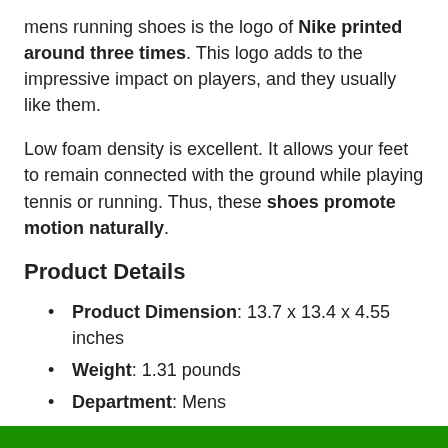mens running shoes is the logo of Nike printed around three times. This logo adds to the impressive impact on players, and they usually like them.
Low foam density is excellent. It allows your feet to remain connected with the ground while playing tennis or running. Thus, these shoes promote motion naturally.
Product Details
Product Dimension: 13.7 x 13.4 x 4.55 inches
Weight: 1.31 pounds
Department: Mens